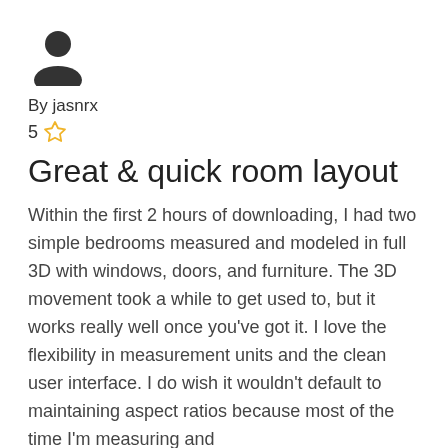[Figure (illustration): Generic user avatar icon (person silhouette in dark gray)]
By jasnrx
5 ☆
Great & quick room layout
Within the first 2 hours of downloading, I had two simple bedrooms measured and modeled in full 3D with windows, doors, and furniture. The 3D movement took a while to get used to, but it works really well once you've got it. I love the flexibility in measurement units and the clean user interface. I do wish it wouldn't default to maintaining aspect ratios because most of the time I'm measuring and
Read more ∨
[Figure (illustration): Generic user avatar icon (person silhouette in dark gray), partially visible at bottom]
By nananananananananaha